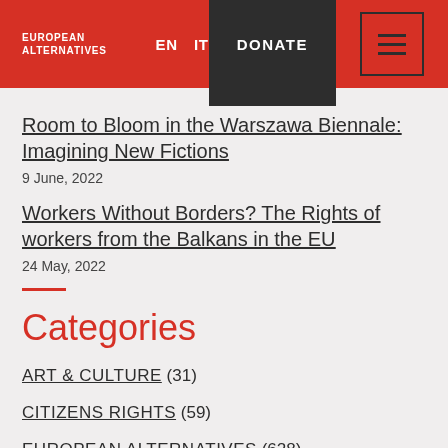EUROPEAN ALTERNATIVES | EN | IT | DONATE
Room to Bloom in the Warszawa Biennale: Imagining New Fictions
9 June, 2022
Workers Without Borders? The Rights of workers from the Balkans in the EU
24 May, 2022
Categories
ART & CULTURE (31)
CITIZENS RIGHTS (59)
EUROPEAN ALTERNATIVES (628)